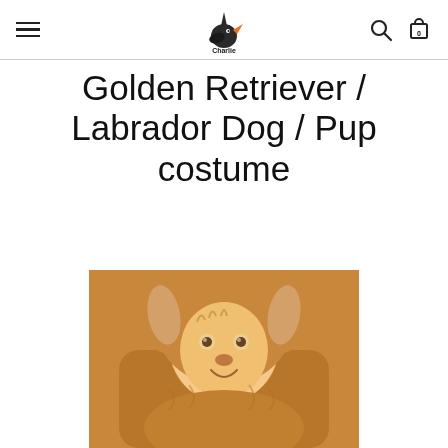Charlie Crow — navigation header with logo, search, and cart
Golden Retriever / Labrador Dog / Pup costume
£26.50
LOADING REVIEWS...
[Figure (photo): Child wearing a golden/brown fluffy dog (Golden Retriever/Labrador) costume with hood including ears, smiling at camera]